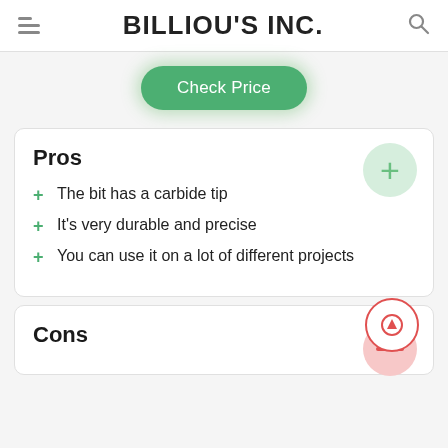BILLIOU'S INC.
Check Price
Pros
The bit has a carbide tip
It's very durable and precise
You can use it on a lot of different projects
Cons